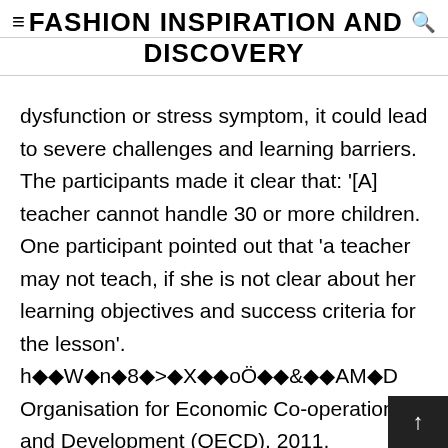FASHION INSPIRATION AND DISCOVERY
dysfunction or stress symptom, it could lead to severe challenges and learning barriers. The participants made it clear that: '[A] teacher cannot handle 30 or more children. One participant pointed out that 'a teacher may not teach, if she is not clear about her learning objectives and success criteria for the lesson'. h◆◆W◆n◆8◆>◆X◆◆oÖ◆◆&◆◆AM◆D Organisation for Economic Co-operation and Development (OECD), 2011, Education at a glance: What is the student-teacher ratio an◆